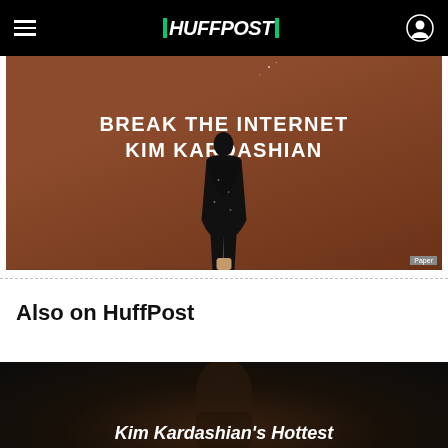HUFFPOST
[Figure (photo): Magazine cover for Paper magazine showing text 'BREAK THE INTERNET KIM KARDASHIAN' over a brown background with a black sequined figure]
Paper
Also on HuffPost
[Figure (photo): Dark background image — bottom panel teaser for Kim Kardashian article]
Kim Kardashian's Hottest